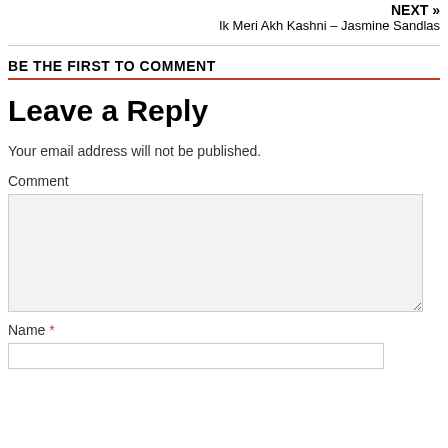NEXT » Ik Meri Akh Kashni – Jasmine Sandlas
BE THE FIRST TO COMMENT
Leave a Reply
Your email address will not be published.
Comment
Name *